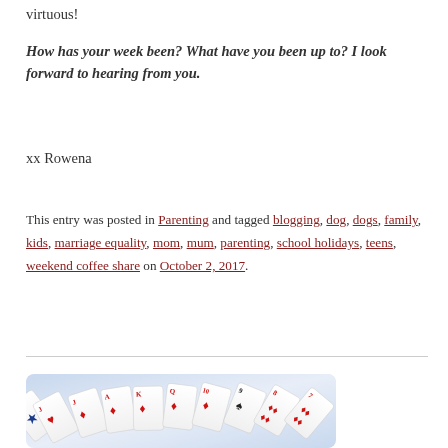virtuous!
How has your week been? What have you been up to? I look forward to hearing from you.
xx Rowena
This entry was posted in Parenting and tagged blogging, dog, dogs, family, kids, marriage equality, mom, mum, parenting, school holidays, teens, weekend coffee share on October 2, 2017.
[Figure (illustration): Fan of playing cards including Joker, Jack of Hearts, Jack of Diamonds, Ace of Diamonds, King of Diamonds, Queen of Diamonds, 10 of Diamonds, 9 of Spades, 8 of Diamonds, 7 of Diamonds, arranged in a fanned spread on a blue-tinted background.]